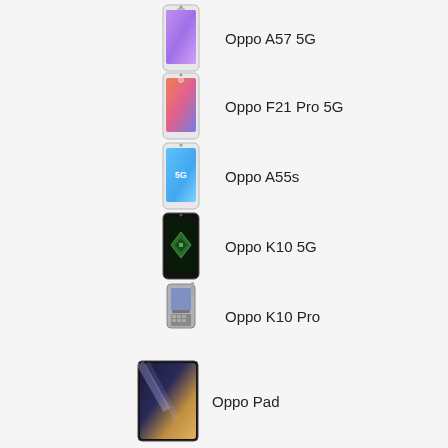Oppo A57 5G
Oppo F21 Pro 5G
Oppo A55s
Oppo K10 5G
Oppo K10 Pro
Oppo Pad